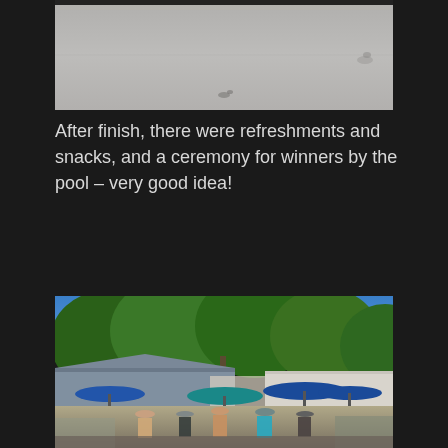[Figure (photo): Top portion of a photo showing a road or paved surface with people visible, cropped at top]
After finish, there were refreshments and snacks, and a ceremony for winners by the pool – very good idea!
[Figure (photo): Outdoor pool area with people gathered, blue umbrellas, green trees in background, blue sky, summer event ceremony]